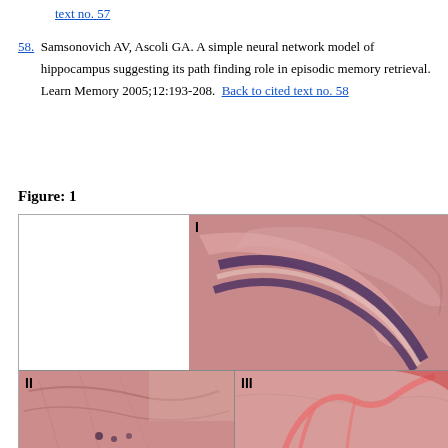text no. 57
58. Samsonovich AV, Ascoli GA. A simple neural network model of hippocampus suggesting its path finding role in episodic memory retrieval. Learn Memory 2005;12:193-208. Back to cited text no. 58
Figure: 1
[Figure (photo): Histological images of hippocampus tissue sections. Panel I (top right): H&E stained section showing curved hippocampal layers with dark purple cell bands on pink background. Panel II (bottom left): Lower magnification tissue section with pink staining showing brain tissue. Panel III (bottom right): Higher magnification section showing pink-stained tissue with visible structures.]